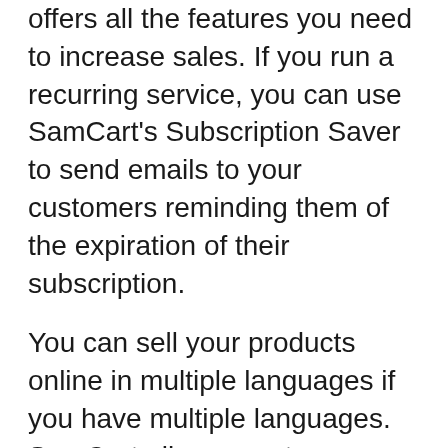offers all the features you need to increase sales. If you run a recurring service, you can use SamCart's Subscription Saver to send emails to your customers reminding them of the expiration of their subscription.
You can sell your products online in multiple languages if you have multiple languages. SamCart allows you to translate your checkout page into any language your customers speak. You can even use multi-language templates, including those that are designed for international markets. To create a multilingual shopping basket, you can choose between “World Wide” and “One-Page Funnel”. Scroll down to personalize it and then save it.